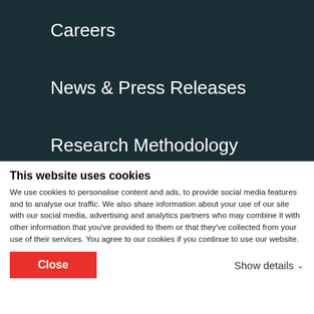Careers
News & Press Releases
Research Methodology
Buyers
Browse All Directories
This website uses cookies
We use cookies to personalise content and ads, to provide social media features and to analyse our traffic. We also share information about your use of our site with our social media, advertising and analytics partners who may combine it with other information that you've provided to them or that they've collected from your use of their services. You agree to our cookies if you continue to use our website.
Close
Show details